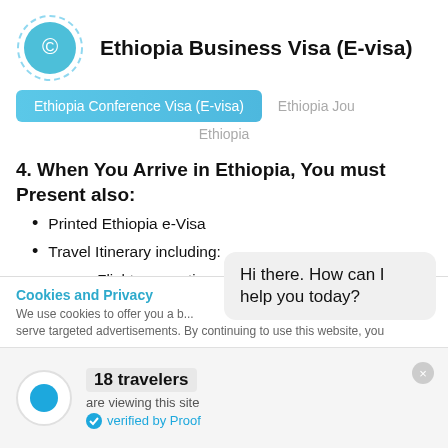Ethiopia Business Visa (E-visa)
Ethiopia Conference Visa (E-visa)
Ethiopia Jou...
Ethiopia
4. When You Arrive in Ethiopia, You must Present also:
Printed Ethiopia e-Visa
Travel Itinerary including:
Flight reservation
Valid (existing)
Cookies and Privacy
We use cookies to offer you a b... serve targeted advertisements. By continuing to use this website, you
Hi there. How can I help you today?
18 travelers
are viewing this site
verified by Proof